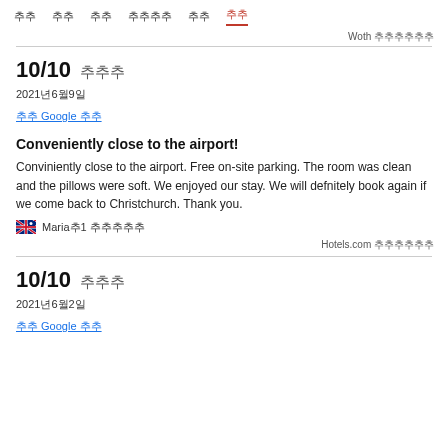추천 추천 추천 추천추천추천 추천 추천
Woth 추추추추추추
10/10 추추추
2021년6월9일
추추 Google 추추
Conveniently close to the airport!
Conviniently close to the airport. Free on-site parking. The room was clean and the pillows were soft. We enjoyed our stay. We will defnitely book again if we come back to Christchurch. Thank you.
Maria추1 추추추추추
Hotels.com 추추추추추추
10/10 추추추
2021년6월2일
추추 Google 추추